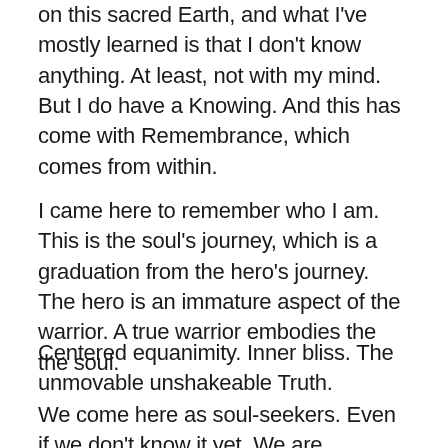on this sacred Earth, and what I've mostly learned is that I don't know anything. At least, not with my mind. But I do have a Knowing. And this has come with Remembrance, which comes from within.
I came here to remember who I am. This is the soul's journey, which is a graduation from the hero's journey. The hero is an immature aspect of the warrior. A true warrior embodies the the soul.
Centered equanimity. Inner bliss. The unmovable unshakeable Truth.
We come here as soul-seekers. Even if we don't know it yet. We are